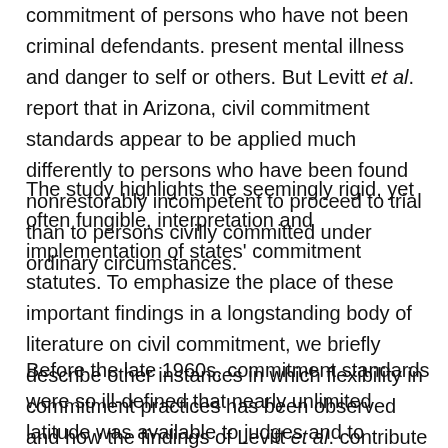commitment of persons who have not been criminal defendants. present mental illness and danger to self or others. But Levitt et al. report that in Arizona, civil commitment standards appear to be applied much differently to persons who have been found nonrestorably incompetent to proceed to trial than to persons civilly committed under ordinary circumstances.
The study highlights the seemingly rigid, yet often fungible, interpretation and implementation of states' commitment statutes. To emphasize the place of these important findings in a longstanding body of literature on civil commitment, we briefly describe other instances in which flexibility in commitment practices has been observed and how the findings of Levitt et al. contribute to this historical line of research.
Before the late 1960s, commitment standards were so ill-defined that nearly unlimited latitude was available to judges and to interested parties seeking to have an individual admitted to and retained in a psychiatric institution.2 In this period, the findings Levitt and